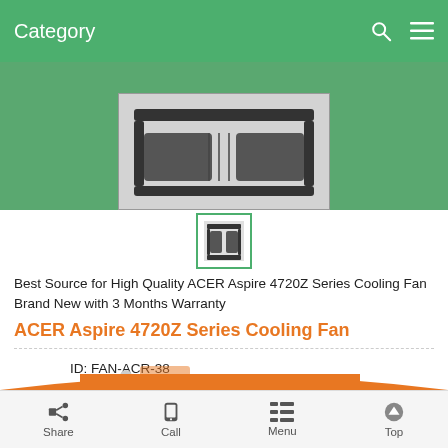Category
[Figure (photo): Product photo of ACER Aspire 4720Z Series Cooling Fan shown against grey background]
[Figure (photo): Small thumbnail of ACER Aspire 4720Z Series Cooling Fan]
Best Source for High Quality ACER Aspire 4720Z Series Cooling Fan Brand New with 3 Months Warranty
ACER Aspire 4720Z Series Cooling Fan
ID: FAN-ACR-38
Cooling Fan
Conditions: Brand New with 3 Months Warranty.
AU $27.99
Share   Call   Menu   Top